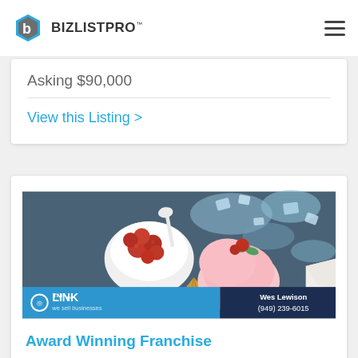[Figure (logo): BizListPro logo with hexagon icon and text]
Asking $90,000
View this Listing >
[Figure (photo): Ice cream and raspberries photo with LINK business broker branding overlay showing Wes Lewison (949) 239-6015]
Award Winning Franchise